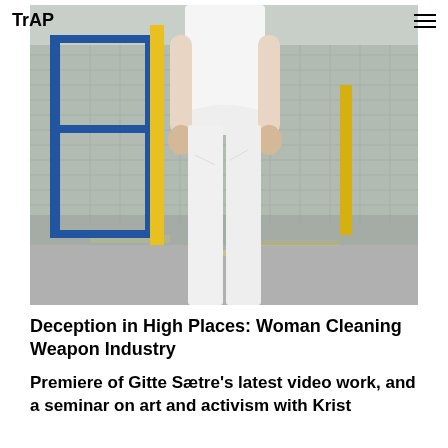TrAP
[Figure (photo): Person wearing all white outfit (white t-shirt and white jeans) standing in front of a blue metal gate/fence structure, photographed from neck down. Industrial or airport-like setting with yellow poles and markings on the ground.]
Deception in High Places: Woman Cleaning Weapon Industry
Premiere of Gitte Sætre's latest video work, and a seminar on art and activism with Krist